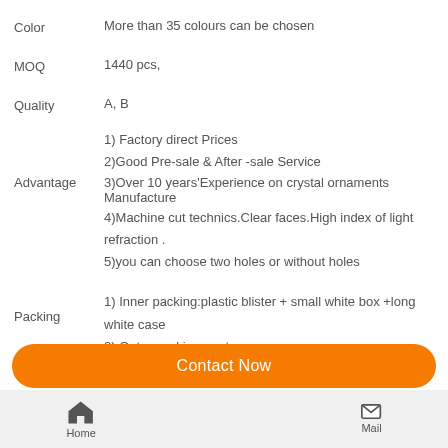Color    More than 35 colours can be chosen
MOQ    1440 pcs,
Quality    A, B
1) Factory direct Prices
2)Good Pre-sale & After -sale Service
Advantage3)Over 10 years'Experience on crystal ornaments Manufacture
4)Machine cut technics.Clear faces.High index of light refraction .
5)you can choose two holes or without holes
Packing 1) Inner packing:plastic blister + small white box +long white case
2) Outer packing: carton
Contact Now
Home  Mail